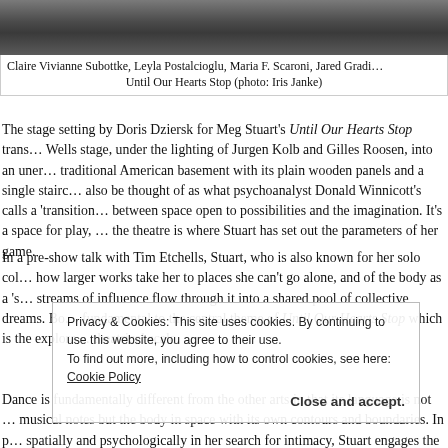[Figure (photo): Photo of performers on stage, partially cropped at top edge]
Claire Vivianne Subottke, Leyla Postalcioglu, Maria F. Scaroni, Jared Gradi… Until Our Hearts Stop (photo: Iris Janke)
The stage setting by Doris Dziersk for Meg Stuart's Until Our Hearts Stop trans… Wells stage, under the lighting of Jurgen Kolb and Gilles Roosen, into an uner… traditional American basement with its plain wooden panels and a single stairc… also be thought of as what psychoanalyst Donald Winnicott's calls a 'transition… between space open to possibilities and the imagination. It's a space for play, … the theatre is where Stuart has set out the parameters of her game.
In a pre-show talk with Tim Etchells, Stuart, who is also known for her solo col… how larger works take her to places she can't go alone, and of the body as a 's… streams of influence flow through it into a shared pool of collective dreams. Bo… fundamental to the central theme of Until Our Hearts Stop which is the explora… theatrical scale.
Dance is fundamentally different from the other arts in that its language is not … musical notes but the body in space with its own contours and boundaries. In p… spatially and psychologically in her search for intimacy, Stuart engages the tra… the 'switching station' — of the body in a game where those limits are apt to di…
Privacy & Cookies: This site uses cookies. By continuing to use this website, you agree to their use. To find out more, including how to control cookies, see here: Cookie Policy
Close and accept.